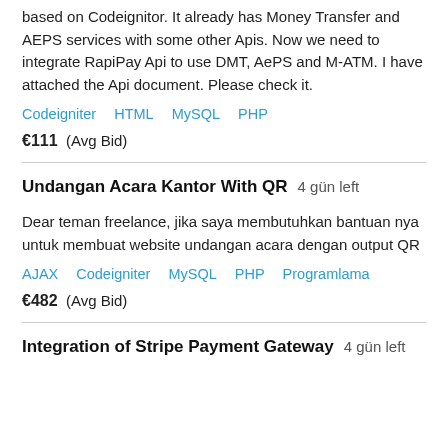based on Codeignitor. It already has Money Transfer and AEPS services with some other Apis. Now we need to integrate RapiPay Api to use DMT, AePS and M-ATM. I have attached the Api document. Please check it.
Codeigniter   HTML   MySQL   PHP
€111  (Avg Bid)
Undangan Acara Kantor With QR   4 gün left
Dear teman freelance, jika saya membutuhkan bantuan nya untuk membuat website undangan acara dengan output QR
AJAX   Codeigniter   MySQL   PHP   Programlama
€482  (Avg Bid)
Integration of Stripe Payment Gateway   4 gün left